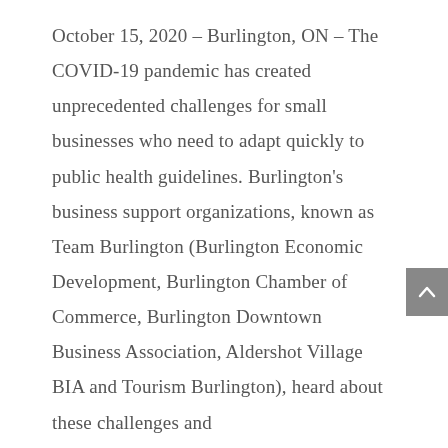October 15, 2020 – Burlington, ON – The COVID-19 pandemic has created unprecedented challenges for small businesses who need to adapt quickly to public health guidelines. Burlington's business support organizations, known as Team Burlington (Burlington Economic Development, Burlington Chamber of Commerce, Burlington Downtown Business Association, Aldershot Village BIA and Tourism Burlington), heard about these challenges and